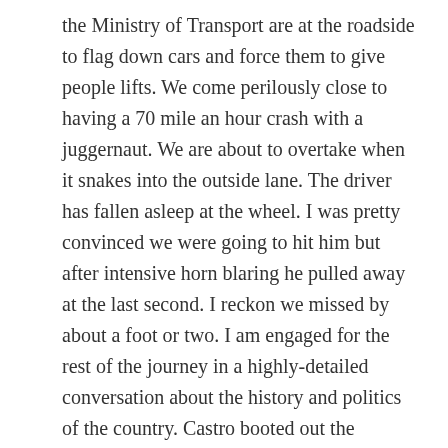the Ministry of Transport are at the roadside to flag down cars and force them to give people lifts. We come perilously close to having a 70 mile an hour crash with a juggernaut. We are about to overtake when it snakes into the outside lane. The driver has fallen asleep at the wheel. I was pretty convinced we were going to hit him but after intensive horn blaring he pulled away at the last second. I reckon we missed by about a foot or two. I am engaged for the rest of the journey in a highly-detailed conversation about the history and politics of the country. Castro booted out the dictator Batista in the fifties  and was hailed as a hero. He got the Soviet Union to fund everything, and things improved until it collapsed in the nineties. Some infrastructure was put in, people got jobs and free education, and usually a place to live. But in the process he made two crucial enemies: all the exiled rich Cubans now living mainly in the USA, and the US government. So now the country has no money and two of the most powerful